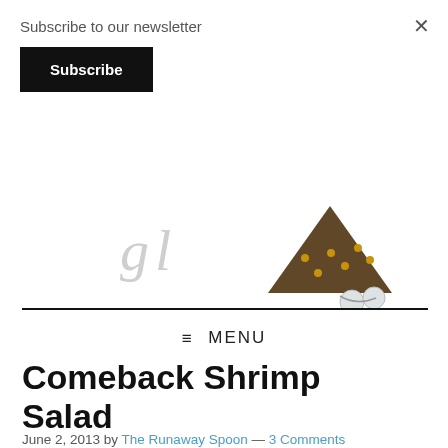Subscribe to our newsletter
Subscribe
×
[Figure (logo): Partial cursive/script blog logo with decorative illustration of what appears to be a brown triangle shape with pearl-like beads]
≡ MENU
Comeback Shrimp Salad
June 2, 2013 by The Runaway Spoon — 3 Comments